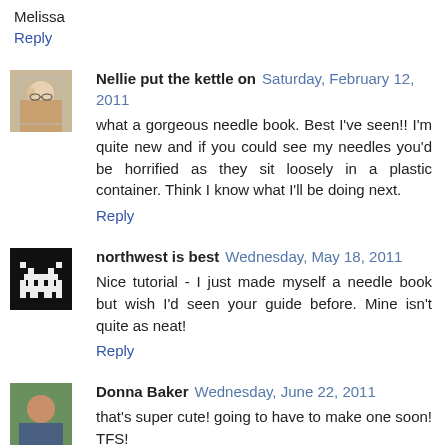Melissa
Reply
Nellie put the kettle on  Saturday, February 12, 2011
what a gorgeous needle book. Best I've seen!! I'm quite new and if you could see my needles you'd be horrified as they sit loosely in a plastic container. Think I know what I'll be doing next.
Reply
northwest is best  Wednesday, May 18, 2011
Nice tutorial - I just made myself a needle book but wish I'd seen your guide before. Mine isn't quite as neat!
Reply
Donna Baker  Wednesday, June 22, 2011
that's super cute! going to have to make one soon! TFS!